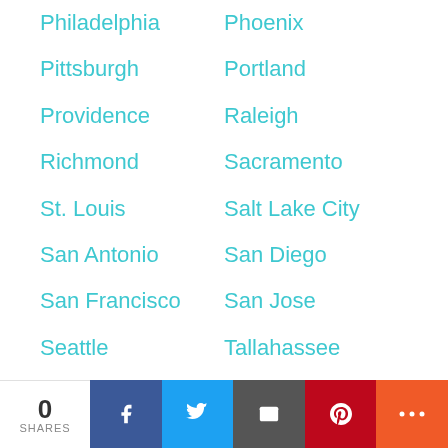Philadelphia
Phoenix
Pittsburgh
Portland
Providence
Raleigh
Richmond
Sacramento
St. Louis
Salt Lake City
San Antonio
San Diego
San Francisco
San Jose
Seattle
Tallahassee
Tampa
Tucson
Virginia Beach
Washington
Venezuela
Caracas
Maracaibo